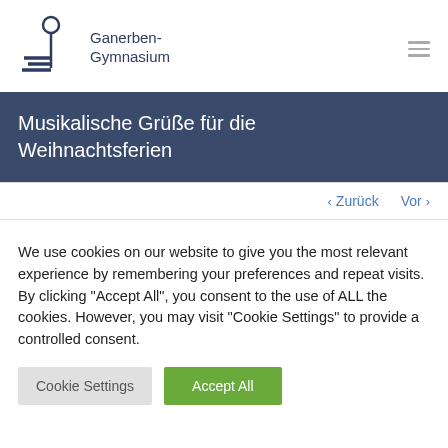[Figure (logo): Ganerben-Gymnasium logo: stylized vertical line with circle top and horizontal lines at base, navy blue color]
Musikalische Grüße für die Weihnachtsferien
‹ Zurück   Vor ›
We use cookies on our website to give you the most relevant experience by remembering your preferences and repeat visits. By clicking "Accept All", you consent to the use of ALL the cookies. However, you may visit "Cookie Settings" to provide a controlled consent.
Cookie Settings   Accept All